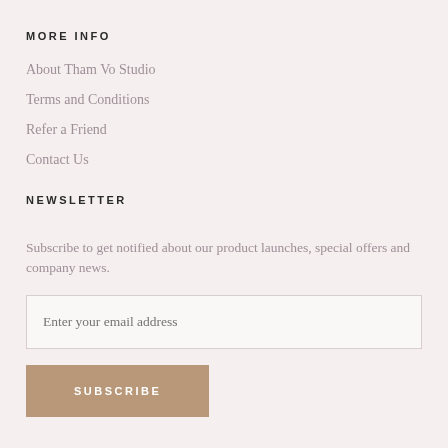MORE INFO
About Tham Vo Studio
Terms and Conditions
Refer a Friend
Contact Us
NEWSLETTER
Subscribe to get notified about our product launches, special offers and company news.
Enter your email address
SUBSCRIBE